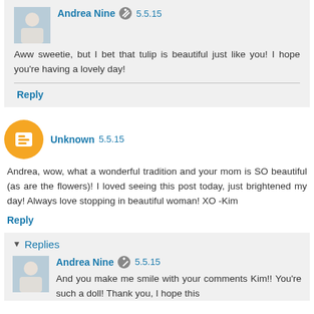Andrea Nine 5.5.15
Aww sweetie, but I bet that tulip is beautiful just like you! I hope you're having a lovely day!
Reply
Unknown 5.5.15
Andrea, wow, what a wonderful tradition and your mom is SO beautiful (as are the flowers)! I loved seeing this post today, just brightened my day! Always love stopping in beautiful woman! XO -Kim
Reply
Replies
Andrea Nine 5.5.15
And you make me smile with your comments Kim!! You're such a doll! Thank you, I hope this